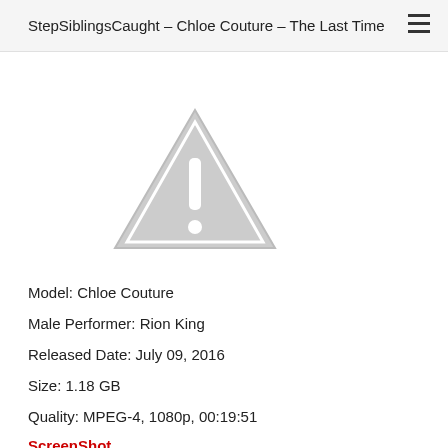StepSiblingsCaught – Chloe Couture – The Last Time
[Figure (illustration): Gray warning triangle icon with exclamation mark, indicating missing or unavailable image]
Model: Chloe Couture
Male Performer: Rion King
Released Date: July 09, 2016
Size: 1.18 GB
Quality: MPEG-4, 1080p, 00:19:51
ScreenShot
rapidgator:javfr.com_160709.nupo.chloe.1080.mp4